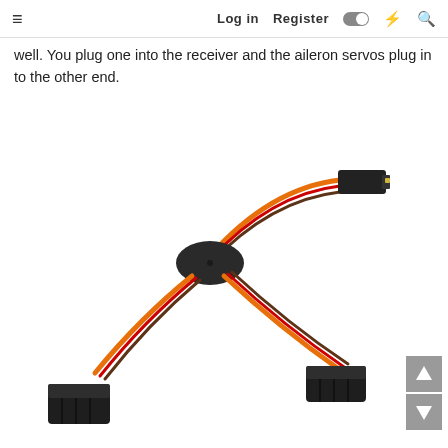≡   Log in   Register   [toggle]   ⚡   🔍
well. You plug one into the receiver and the aileron servos plug in to the other end.
[Figure (photo): A Y-splitter servo cable with orange/red/brown wires. The cable has a central black oval connector hub. From the hub, one wire goes up-right to a small black male connector, one wire goes down-left to a larger black female connector, and one wire goes down-right to another black female connector.]